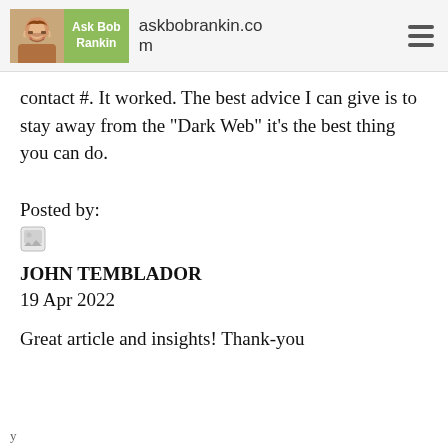Ask Bob Rankin | askbobrankin.com
contact #. It worked. The best advice I can give is to stay away from the "Dark Web" it's the best thing you can do.
Posted by:
JOHN TEMBLADOR
19 Apr 2022
Great article and insights! Thank-you